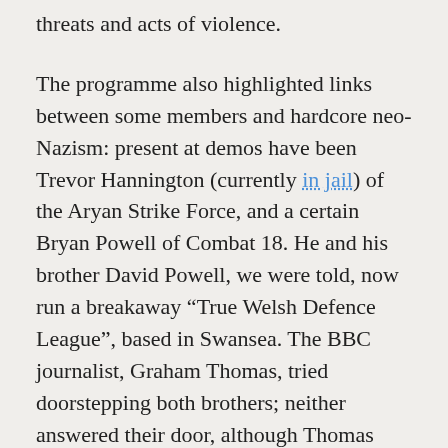threats and acts of violence.
The programme also highlighted links between some members and hardcore neo-Nazism: present at demos have been Trevor Hannington (currently in jail) of the Aryan Strike Force, and a certain Bryan Powell of Combat 18. He and his brother David Powell, we were told, now run a breakaway “True Welsh Defence League”, based in Swansea. The BBC journalist, Graham Thomas, tried doorstepping both brothers; neither answered their door, although Thomas managed to confront another neo-Nazi, Luke Pippin, while Pippin was out walking his dog. Thomas explained that Pippin had run the WDL website and organised transport, but Pippin insisted that his involvement with the WDL had been “minuscule”.
Marsh apparently declined to be interviewed, while